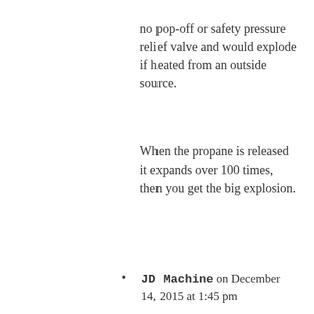no pop-off or safety pressure relief valve and would explode if heated from an outside source.
When the propane is released it expands over 100 times, then you get the big explosion.
JD Machine on December 14, 2015 at 1:45 pm
Here’s a video of a propane tank shot with a .50 cal with ignited flare strapped on. It bursts at the seams and makes a fireball. Certainly not very powerful or damaging as far as pieces flyinh off.
https://www.youtube.com/watch?